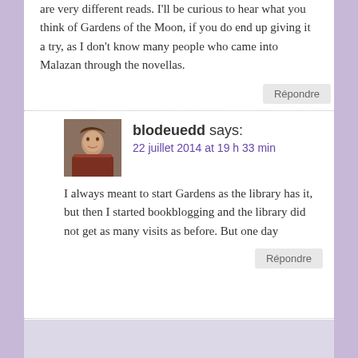are very different reads. I'll be curious to hear what you think of Gardens of the Moon, if you do end up giving it a try, as I don't know many people who came into Malazan through the novellas.
Répondre
blodeuedd says: 22 juillet 2014 at 19 h 33 min
I always meant to start Gardens as the library has it, but then I started bookblogging and the library did not get as many visits as before. But one day
Répondre